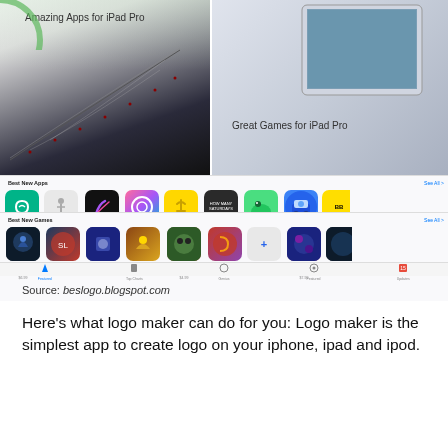[Figure (screenshot): Screenshot of Apple App Store on iPad Pro showing 'Amazing Apps for iPad Pro' and 'Great Games for iPad Pro' sections with app icons for Best New Apps and Best New Games including Vine, Complete Anatomy, Procreate, Musique 2, SharetheMeal, How Many Saturdays, The Good Dinosaur, Thomas & Friends, Zodiac Dragon Odyssey, Skylanders SuperChargers, Tiny Rogue, The Last Vikings, Oddworld Munch's Oddysee, Pop Dash, Word, Thirty Days & Seven Seas, Eternal, with navigation bar at bottom]
Source: beslogo.blogspot.com
Here's what logo maker can do for you: Logo maker is the simplest app to create logo on your iphone, ipad and ipod.